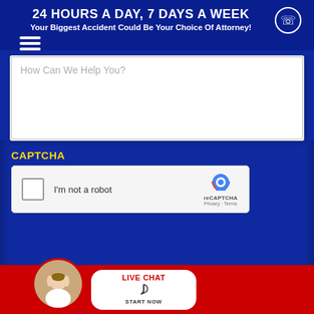24 HOURS A DAY, 7 DAYS A WEEK
Your Biggest Accident Could Be Your Choice Of Attorney!
[Figure (screenshot): Text area form field with placeholder text 'How Can We Help You?']
CAPTCHA
[Figure (screenshot): reCAPTCHA widget with checkbox 'I'm not a robot' and reCAPTCHA logo with Privacy and Terms links]
[Figure (screenshot): Bottom bar with live chat widget showing a female avatar, 'LIVE CHAT' text in red, a chat icon, and 'START NOW' label]